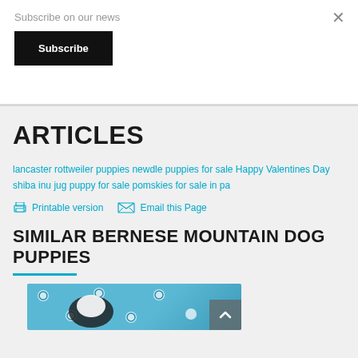Subscribe on our news
Subscribe
ARTICLES
lancaster rottweiler puppies newdle puppies for sale Happy Valentines Day shiba inu jug puppy for sale pomskies for sale in pa
Printable version   Email this Page
SIMILAR BERNESE MOUNTAIN DOG PUPPIES
[Figure (photo): Bernese Mountain Dog puppy on blue paw-print blanket]